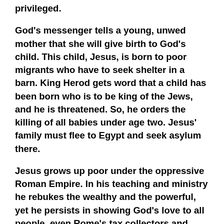especially to those of us who are comfortable and privileged.
God's messenger tells a young, unwed mother that she will give birth to God's child. This child, Jesus, is born to poor migrants who have to seek shelter in a barn. King Herod gets word that a child has been born who is to be king of the Jews, and he is threatened. So, he orders the killing of all babies under age two. Jesus' family must flee to Egypt and seek asylum there.
Jesus grows up poor under the oppressive Roman Empire. In his teaching and ministry he rebukes the wealthy and the powerful, yet he persists in showing God's love to all people, even Rome's tax collectors and soldiers. This radical love threatens those in power. They try to stop Jesus from healing, teaching and loving by putting him to death. But Jesus cannot be stopped. God raises him from the dead. Love prevails. New life arises.